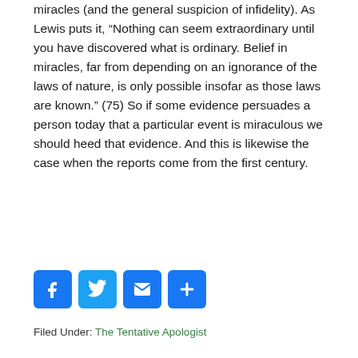miracles (and the general suspicion of infidelity). As Lewis puts it, “Nothing can seem extraordinary until you have discovered what is ordinary. Belief in miracles, far from depending on an ignorance of the laws of nature, is only possible insofar as those laws are known.” (75) So if some evidence persuades a person today that a particular event is miraculous we should heed that evidence. And this is likewise the case when the reports come from the first century.
[Figure (other): Social media sharing icons: Facebook, Twitter, Email, Share (plus)]
Filed Under: The Tentative Apologist